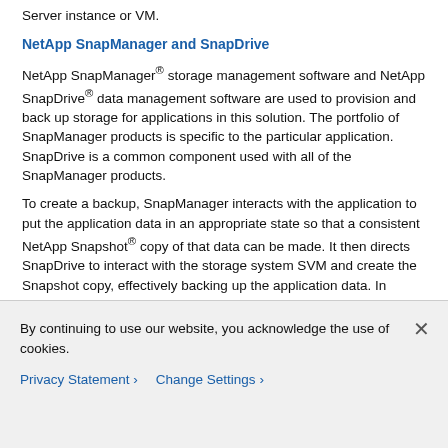Server instance or VM.
NetApp SnapManager and SnapDrive
NetApp SnapManager® storage management software and NetApp SnapDrive® data management software are used to provision and back up storage for applications in this solution. The portfolio of SnapManager products is specific to the particular application. SnapDrive is a common component used with all of the SnapManager products.
To create a backup, SnapManager interacts with the application to put the application data in an appropriate state so that a consistent NetApp Snapshot® copy of that data can be made. It then directs SnapDrive to interact with the storage system SVM and create the Snapshot copy, effectively backing up the application data. In addition to managing Snapshot copies of application data, SnapDrive can be used to accomplish the following tasks:
Provisioning application data LUNs in the SVM as mapped disks on the application VM
Managing Snapshot copies of application VMDK
By continuing to use our website, you acknowledge the use of cookies.
Privacy Statement  Change Settings